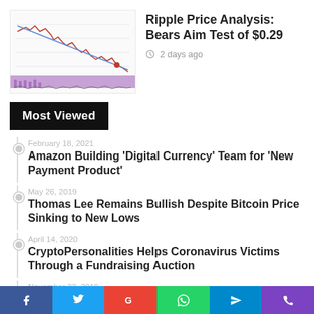[Figure (screenshot): Ripple price chart thumbnail showing a declining price trend with a red downward line and purple volume indicator at bottom]
Ripple Price Analysis: Bears Aim Test of $0.29
2 days ago
Most Viewed
February 18, 2021
Amazon Building ‘Digital Currency’ Team for ‘New Payment Product’
May 26, 2019
Thomas Lee Remains Bullish Despite Bitcoin Price Sinking to New Lows
April 14, 2020
CryptoPersonalities Helps Coronavirus Victims Through a Fundraising Auction
November 22, 2019
Green Policy and Crypto Energy Consumption in the EU
f  t  G  (whatsapp)  (telegram)  (phone)